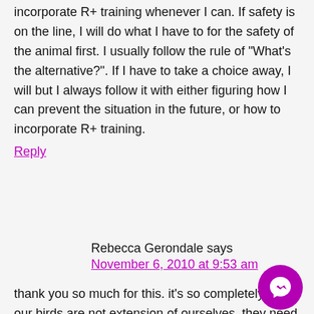incorporate R+ training whenever I can. If safety is on the line, I will do what I have to for the safety of the animal first. I usually follow the rule of “What’s the alternative?”. If I have to take a choice away, I will but I always follow it with either figuring how I can prevent the situation in the future, or how to incorporate R+ training.
Reply
Rebecca Gerondale says
November 6, 2010 at 9:53 am
thank you so much for this. it’s so completely true. our birds are not extension of ourselves. they need and
[Figure (logo): Messenger chat button icon, purple circle with white lightning bolt messenger logo]